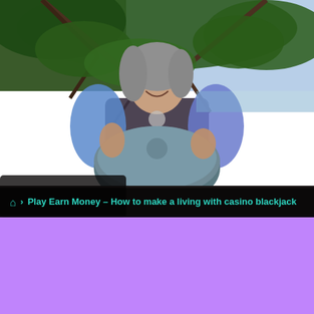[Figure (photo): A woman with gray curly hair playing a hang drum (handpan) instrument outdoors under trees near a beach. She is smiling and wearing a blue patterned top over a dark shirt. The background shows tropical trees, branches, and a glimpse of sky and dark sand beach.]
🏠 > Play Earn Money – How to make a living with casino blackjack
Uncategorized
Play Earn Money